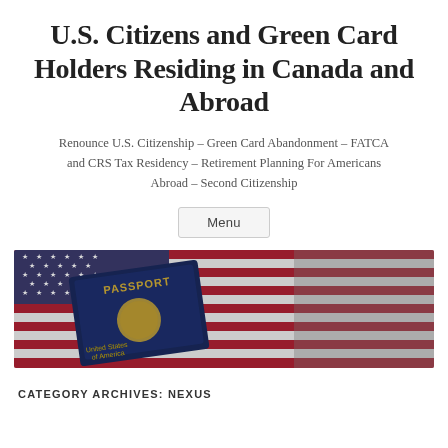U.S. Citizens and Green Card Holders Residing in Canada and Abroad
Renounce U.S. Citizenship – Green Card Abandonment – FATCA and CRS Tax Residency – Retirement Planning For Americans Abroad – Second Citizenship
Menu
[Figure (photo): U.S. passport resting on an American flag with stars and red/white stripes visible]
CATEGORY ARCHIVES: NEXUS